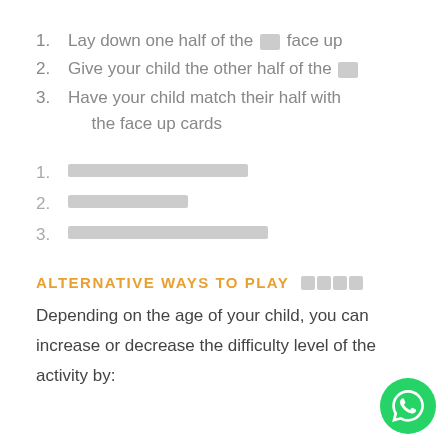1. Lay down one half of the [card emoji] face up
2. Give your child the other half of the [card emoji]
3. Have your child match their half with the face up cards
1. [Thai text redacted]
2. [Thai text redacted]
3. [Thai text redacted]
ALTERNATIVE WAYS TO PLAY 🎲🎲🎲🎲
Depending on the age of your child, you can increase or decrease the difficulty level of the activity by: